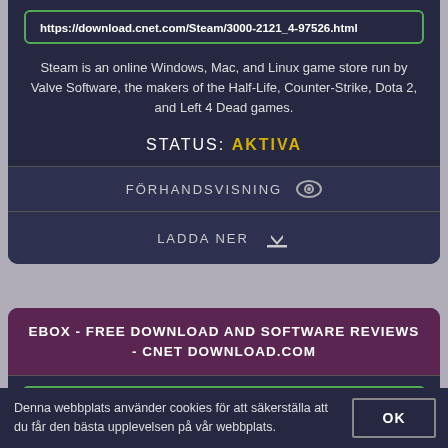https://download.cnet.com/Steam/3000-2121_4-97526.html
Steam is an online Windows, Mac, and Linux game store run by Valve Software, the makers of the Half-Life, Counter-Strike, Dota 2, and Left 4 Dead games.
STATUS: AKTIVA
FÖRHANDSVISNING
LADDA NER
EBOX - FREE DOWNLOAD AND SOFTWARE REVIEWS - CNET DOWNLOAD.COM
https://download.cnet.com/eBox/3000-18513_4-75186225.html
eBox Platform can act as a Gateway, Infrastructure Manager, Unified Threat
Denna webbplats använder cookies för att säkerställa att du får den bästa upplevelsen på vår webbplats.